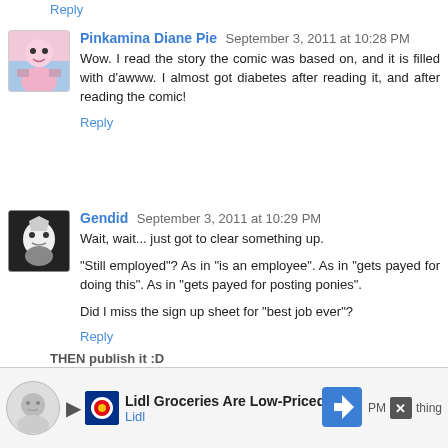Reply
Pinkamina Diane Pie  September 3, 2011 at 10:28 PM
Wow. I read the story the comic was based on, and it is filled with d'awww. I almost got diabetes after reading it, and after reading the comic!
Reply
Gendid  September 3, 2011 at 10:29 PM
Wait, wait... just got to clear something up.

"Still employed"? As in "is an employee". As in "gets payed for doing this". As in "gets payed for posting ponies".

Did I miss the sign up sheet for "best job ever"?
Reply
[Figure (screenshot): Ad bar at bottom: Lidl Groceries Are Low-Priced, with Lidl logo and navigation icon]
THEN publish it :D